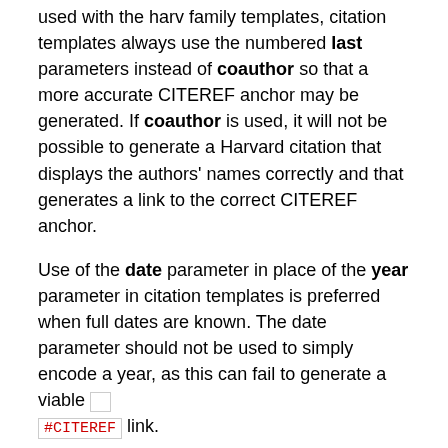used with the harv family templates, citation templates always use the numbered last parameters instead of coauthor so that a more accurate CITEREF anchor may be generated. If coauthor is used, it will not be possible to generate a Harvard citation that displays the authors' names correctly and that generates a link to the correct CITEREF anchor.
Use of the date parameter in place of the year parameter in citation templates is preferred when full dates are known. The date parameter should not be used to simply encode a year, as this can fail to generate a viable #CITEREF link.
Harvard citation wikilink
The Harvard citation templates create a wikilink to the anchor. For example, {{Harv|Smith|2006|p=25}}